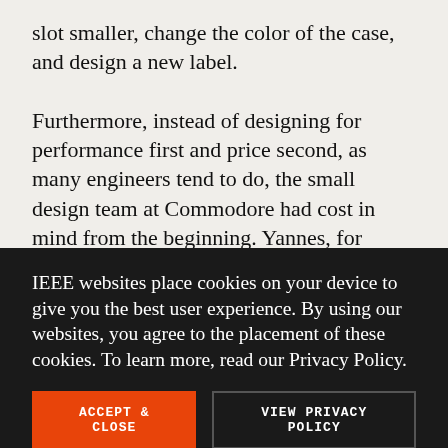slot smaller, change the color of the case, and design a new label.

Furthermore, instead of designing for performance first and price second, as many engineers tend to do, the small design team at Commodore had cost in mind from the beginning. Yannes, for example, had made economy his credo when he was an
IEEE websites place cookies on your device to give you the best user experience. By using our websites, you agree to the placement of these cookies. To learn more, read our Privacy Policy.
ACCEPT & CLOSE
VIEW PRIVACY POLICY